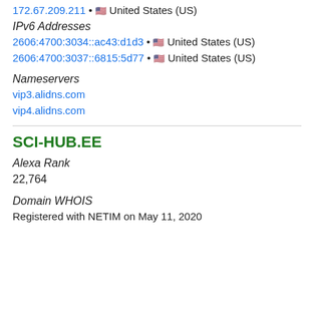172.67.209.211 • 🇺🇸 United States (US)
IPv6 Addresses
2606:4700:3034::ac43:d1d3 • 🇺🇸 United States (US)
2606:4700:3037::6815:5d77 • 🇺🇸 United States (US)
Nameservers
vip3.alidns.com
vip4.alidns.com
SCI-HUB.EE
Alexa Rank
22,764
Domain WHOIS
Registered with NETIM on May 11, 2020